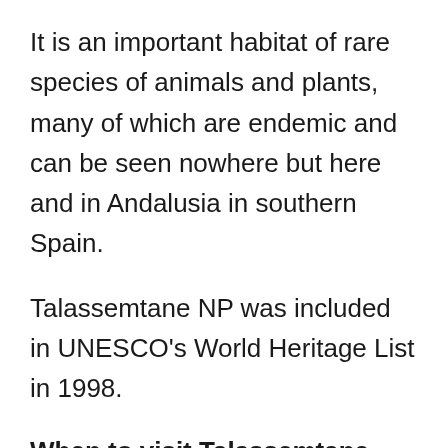It is an important habitat of rare species of animals and plants, many of which are endemic and can be seen nowhere but here and in Andalusia in southern Spain.
Talassemtane NP was included in UNESCO's World Heritage List in 1998.
When to visit Talassemtane National Park
Since most of the area is occupied by mountains, the climate is much cooler in comparison with other destinations at the same latitude. You will find the most comfortable